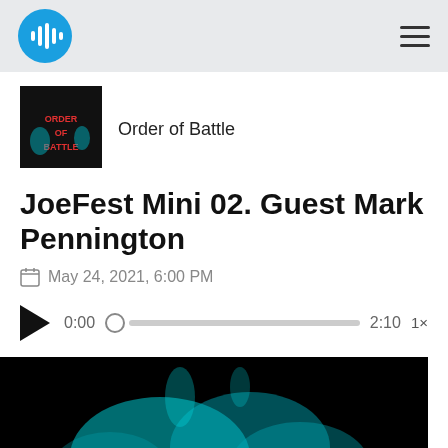Podcast app header with logo and hamburger menu
Order of Battle
JoeFest Mini 02. Guest Mark Pennington
May 24, 2021, 6:00 PM
0:00  2:10  1×
[Figure (screenshot): Dark graphic with teal flame/smoke and red flame lettering at bottom of screen]